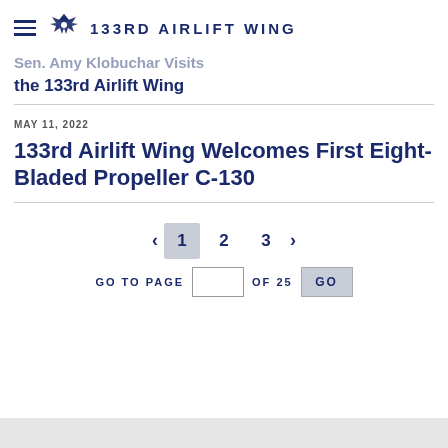133RD AIRLIFT WING
Sen. Amy Klobuchar Visits the 133rd Airlift Wing
MAY 11, 2022
133rd Airlift Wing Welcomes First Eight-Bladed Propeller C-130
< 1 2 3 > GO TO PAGE [input] OF 25 GO